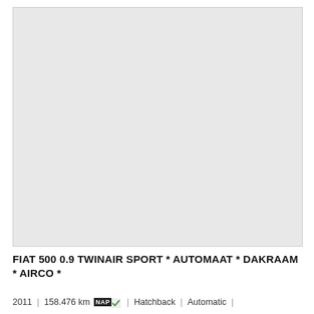[Figure (photo): Car listing photo placeholder — light grey rectangle representing the vehicle image area]
FIAT 500 0.9 TWINAIR SPORT * AUTOMAAT * DAKRAAM * AIRCO *
2011 | 158.476 km NAP✓ | Hatchback | Automatic |